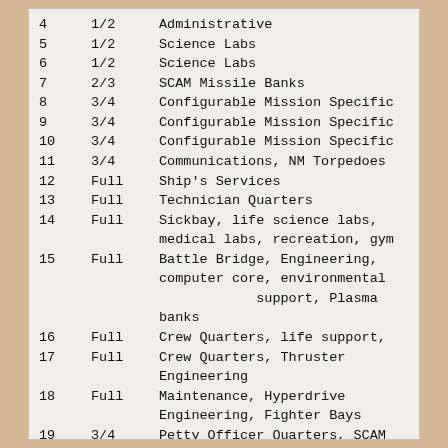| # | Gravity | Description |
| --- | --- | --- |
| 4 | 1/2 | Administrative |
| 5 | 1/2 | Science Labs |
| 6 | 1/2 | Science Labs |
| 7 | 2/3 | SCAM Missile Banks |
| 8 | 3/4 | Configurable Mission Specific |
| 9 | 3/4 | Configurable Mission Specific |
| 10 | 3/4 | Configurable Mission Specific |
| 11 | 3/4 | Communications, NM Torpedoes |
| 12 | Full | Ship's Services |
| 13 | Full | Technician Quarters |
| 14 | Full | Sickbay, life science labs, medical labs, recreation, gym |
| 15 | Full | Battle Bridge, Engineering, computer core, environmental support, Plasma banks |
| 16 | Full | Crew Quarters, life support, |
| 17 | Full | Crew Quarters, Thruster Engineering |
| 18 | Full | Maintenance, Hyperdrive Engineering, Fighter Bays |
| 19 | 3/4 | Petty Officer Quarters, SCAM Missle Banks |
| 20 | 3/4 | Mission-Specific, NM Torpedo |